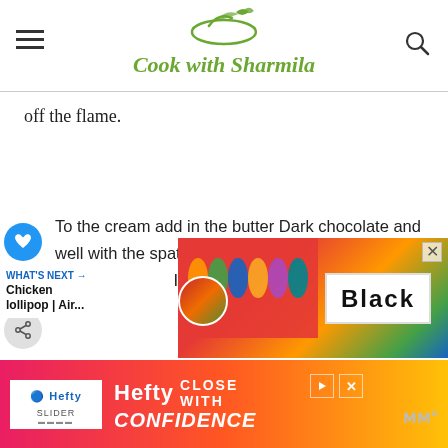Cook with Sharmila
off the flame.
To the cream add in the butter Dark chocolate and well with the spatula until the chocolate is completely ed. Homemade chocolate sauce is ready is no time.
[Figure (screenshot): Advertisement banner with colorful illustrated people and Black text on a sign, with What's Next - Chicken lollipop | Air... sidebar widget and thumbnail]
[Figure (advertisement): Hefty Slider bags advertisement with pink/orange gradient background. Text reads: Hefty CLOSE WITH CONFIDENCE]